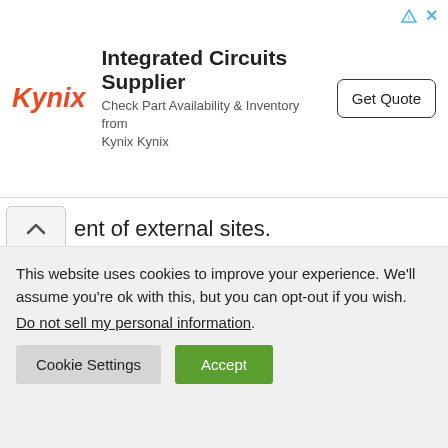[Figure (screenshot): Kynix advertisement banner: Integrated Circuits Supplier — Check Part Availability & Inventory from Kynix Kynix — Get Quote button]
ent of external sites.
If any additional Senpai information arrives, TodayPakWeb will update this post.
TAGS   Animated   Arakawa Senpai Twitter
This website uses cookies to improve your experience. We'll assume you're ok with this, but you can opt-out if you wish.
Do not sell my personal information.
Cookie Settings   Accept